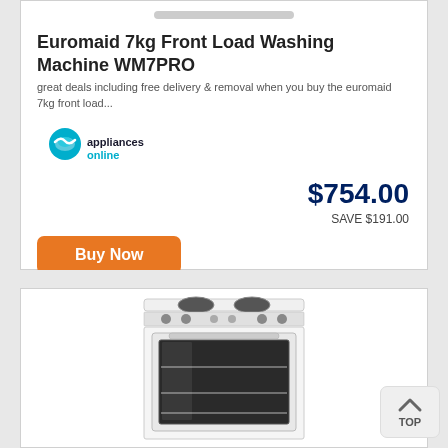[Figure (photo): Top portion of a washing machine product image (partial, cropped at top)]
Euromaid 7kg Front Load Washing Machine WM7PRO
great deals including free delivery & removal when you buy the euromaid 7kg front load...
[Figure (logo): Appliances Online logo with teal circular wave icon and text 'appliancesonline']
$754.00
SAVE $191.00
[Figure (other): Orange 'Buy Now' button]
[Figure (photo): White freestanding electric stove/oven with four solid hotplates and glass oven door showing interior racks]
[Figure (other): Gray 'TOP' back-to-top button with upward chevron arrow]